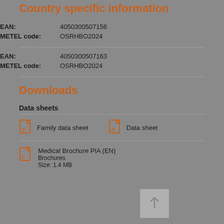Country specific information
EAN: 4050300507156
METEL code: OSRHBO2024
EAN: 4050300507163
METEL code: OSRHBO2024
Downloads
Data sheets
Family data sheet
Data sheet
Medical Brochure PIA (EN)
Brochures
Size: 1.4 MB